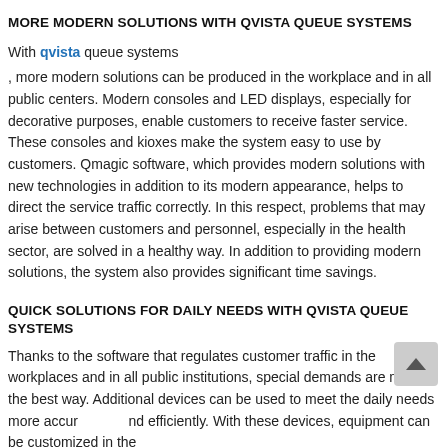MORE MODERN SOLUTIONS WITH QVISTA QUEUE SYSTEMS
With qvista queue systems
, more modern solutions can be produced in the workplace and in all public centers. Modern consoles and LED displays, especially for decorative purposes, enable customers to receive faster service. These consoles and kioxes make the system easy to use by customers. Qmagic software, which provides modern solutions with new technologies in addition to its modern appearance, helps to direct the service traffic correctly. In this respect, problems that may arise between customers and personnel, especially in the health sector, are solved in a healthy way. In addition to providing modern solutions, the system also provides significant time savings.
QUICK SOLUTIONS FOR DAILY NEEDS WITH QVISTA QUEUE SYSTEMS
Thanks to the software that regulates customer traffic in the workplaces and in all public institutions, special demands are met in the best way. Additional devices can be used to meet the daily needs more accurately and efficiently. With these devices, equipment can be customized in the workplace to the needs of the customer that is accessible. Perhaps most